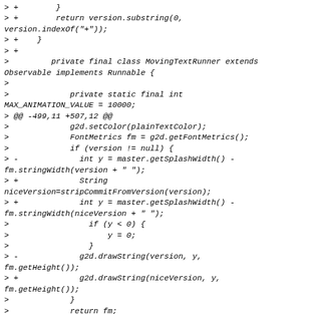> +        }
> +        return version.substring(0, version.indexOf("+"));
> +    }
> +
>         private final class MovingTextRunner extends Observable implements Runnable {
>
>             private static final int MAX_ANIMATION_VALUE = 10000;
> @@ -499,11 +507,12 @@
>             g2d.setColor(plainTextColor);
>             FontMetrics fm = g2d.getFontMetrics();
>             if (version != null) {
> -             int y = master.getSplashWidth() - fm.stringWidth(version + " ");
> +             String niceVersion=stripCommitFromVersion(version);
> +             int y = master.getSplashWidth() - fm.stringWidth(niceVersion + " ");
>                 if (y < 0) {
>                     y = 0;
>                 }
> -             g2d.drawString(version, y, fm.getHeight());
> +             g2d.drawString(niceVersion, y, fm.getHeight());
>             }
>             return fm;
>         }